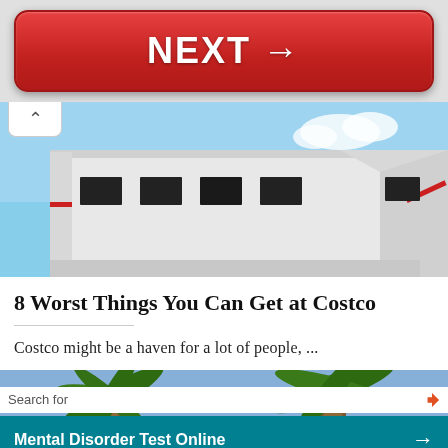[Figure (other): Red NEXT button with right arrow]
[Figure (photo): Exterior of a Costco warehouse building with white metal cladding and red accent stripes, blue sky background]
8 Worst Things You Can Get at Costco
Costco might be a haven for a lot of people, ...
[Figure (photo): Photo of palm trees with ad overlay showing search bar and two teal buttons: 'Mental Disorder Test Online' and 'Depression Self-Test']
Yahoo! Search | Sponsored